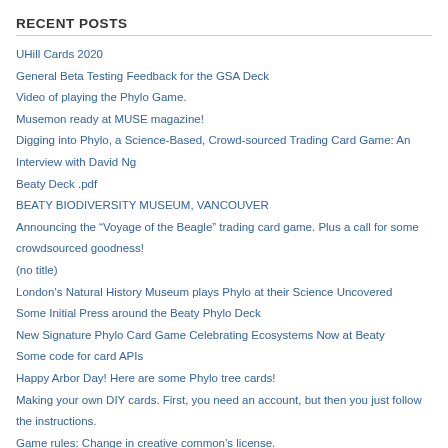RECENT POSTS
UHill Cards 2020
General Beta Testing Feedback for the GSA Deck
Video of playing the Phylo Game.
Musemon ready at MUSE magazine!
Digging into Phylo, a Science-Based, Crowd-sourced Trading Card Game: An Interview with David Ng
Beaty Deck .pdf
BEATY BIODIVERSITY MUSEUM, VANCOUVER
Announcing the “Voyage of the Beagle” trading card game. Plus a call for some crowdsourced goodness!
(no title)
London’s Natural History Museum plays Phylo at their Science Uncovered
Some Initial Press around the Beaty Phylo Deck
New Signature Phylo Card Game Celebrating Ecosystems Now at Beaty
Some code for card APIs
Happy Arbor Day! Here are some Phylo tree cards!
Making your own DIY cards. First, you need an account, but then you just follow the instructions.
Game rules: Change in creative common’s license.
Call for Submissions: MUSÉMON
Check out some of the proofs for the Beaty Phylomon Deck!